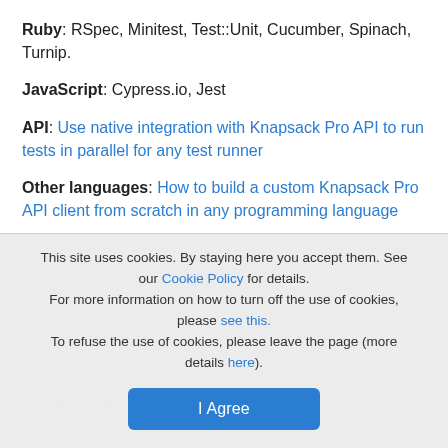Ruby: RSpec, Minitest, Test::Unit, Cucumber, Spinach, Turnip.
JavaScript: Cypress.io, Jest
API: Use native integration with Knapsack Pro API to run tests in parallel for any test runner
Other languages: How to build a custom Knapsack Pro API client from scratch in any programming language
This site uses cookies. By staying here you accept them. See our Cookie Policy for details. For more information on how to turn off the use of cookies, please see this. To refuse the use of cookies, please leave the page (more details here).